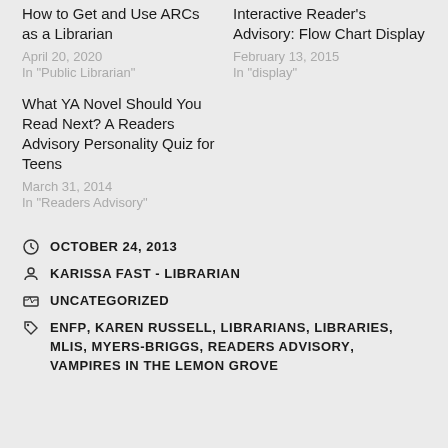How to Get and Use ARCs as a Librarian
April 20, 2020
In "Public Librarian"
Interactive Reader's Advisory: Flow Chart Display
February 13, 2015
In "display"
What YA Novel Should You Read Next? A Readers Advisory Personality Quiz for Teens
March 31, 2014
In "Readers Advisory"
OCTOBER 24, 2013
KARISSA FAST - LIBRARIAN
UNCATEGORIZED
ENFP, KAREN RUSSELL, LIBRARIANS, LIBRARIES, MLIS, MYERS-BRIGGS, READERS ADVISORY, VAMPIRES IN THE LEMON GROVE